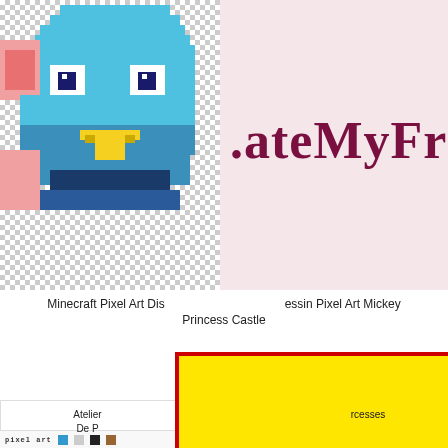[Figure (screenshot): Screenshot of a webpage showing pixel art images. Top left: pixel art of a blue Disney character (Eeyore-like). Top right: pink background with partial site name text '.ateMyFres'. A red-bordered 'close' button overlay. Below: a grid-based pixel art worksheet card on the left with color swatches on the right. A large yellow rectangle overlays the center. Bottom captions read 'Atelier...' and '...cesses De P...' and '...rcesses'. A bottom strip shows pixel art text and small colored squares.]
Minecraft Pixel Art Disney Princess Castle
Dessin Pixel Art Mickey
Atelier
rcesses De P